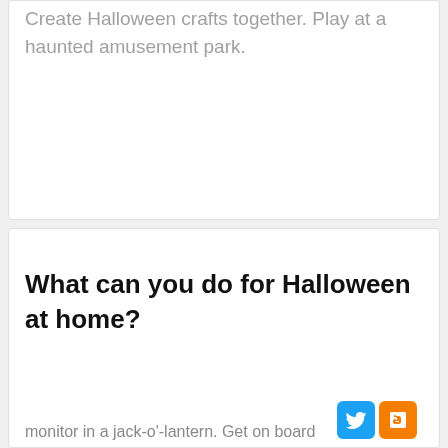Create Halloween crafts together. Play at a haunted amusement park.
What can you do for Halloween at home?
[Figure (logo): Twitter and Blogger social share icons]
10 ways to celebrate Halloween at home
This website uses cookies to ensure you get the best experience on our website. Learn more
Got it!
monitor in a jack-o'-lantern. Get on board